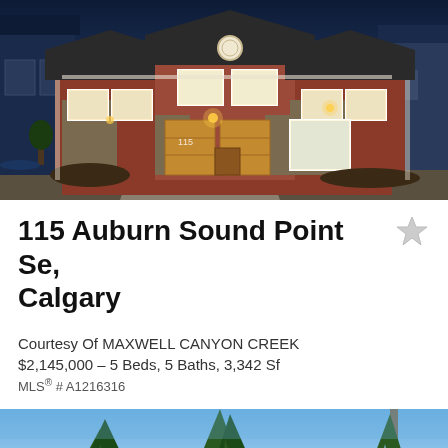[Figure (photo): Exterior night photo of a large two-storey luxury home with red/brown siding, stone accents, triple garage, illuminated warm lighting, dusk sky background]
115 Auburn Sound Point Se, Calgary
Courtesy Of MAXWELL CANYON CREEK
$2,145,000 – 5 Beds, 5 Baths, 3,342 Sf
MLS® # A1216316
[Figure (photo): Partial exterior photo of a property with tall pine/spruce trees against a blue sky, another listing below]